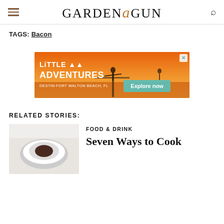Garden & Gun
TAGS: Bacon
[Figure (photo): Advertisement for Little Adventures Destin-Fort Walton Beach FL with orange sunset background and person with arms outstretched on a pier, with teal Explore now button and close X icon]
RELATED STORIES:
[Figure (photo): Thumbnail photo for article Seven Ways to Cook]
FOOD & DRINK
Seven Ways to Cook